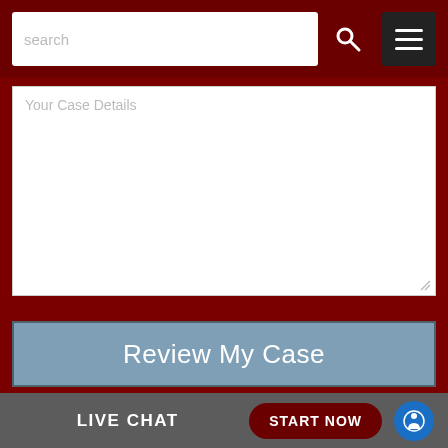[Figure (screenshot): Navigation bar with search field, search icon, and hamburger menu button on dark red background]
Your Case Details
[Figure (screenshot): Review My Case button — steel blue button with white text]
PERSONAL INJURY NEWS
[Figure (screenshot): Live Chat bar with START NOW button and accessibility icon]